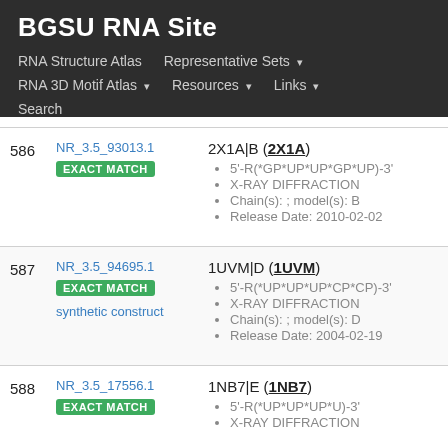BGSU RNA Site
RNA Structure Atlas    Representative Sets ▾    RNA 3D Motif Atlas ▾    Resources ▾    Links ▾    Search
| # | ID | Details |
| --- | --- | --- |
| 586 | NR_3.5_93013.1 EXACT MATCH | 2X1A|B (2X1A)
• 5'-R(*GP*UP*UP*GP*UP)-3'
• X-RAY DIFFRACTION
• Chain(s): ; model(s): B
• Release Date: 2010-02-02 |
| 587 | NR_3.5_94695.1 EXACT MATCH synthetic construct | 1UVM|D (1UVM)
• 5'-R(*UP*UP*UP*CP*CP)-3'
• X-RAY DIFFRACTION
• Chain(s): ; model(s): D
• Release Date: 2004-02-19 |
| 588 | NR_3.5_17556.1 EXACT MATCH | 1NB7|E (1NB7)
• 5'-R(*UP*UP*UP*U)-3'
• X-RAY DIFFRACTION |